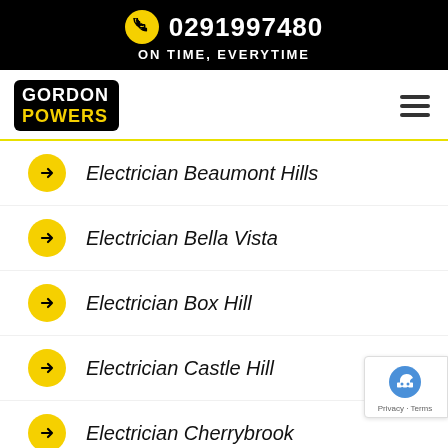0291997480  ON TIME, EVERYTIME
[Figure (logo): Gordon Powers logo — white text 'GORDON' and yellow text 'POWERS' on black rounded rectangle background]
Electrician Beaumont Hills
Electrician Bella Vista
Electrician Box Hill
Electrician Castle Hill
Electrician Cherrybrook
Electrician Dural (partially visible)